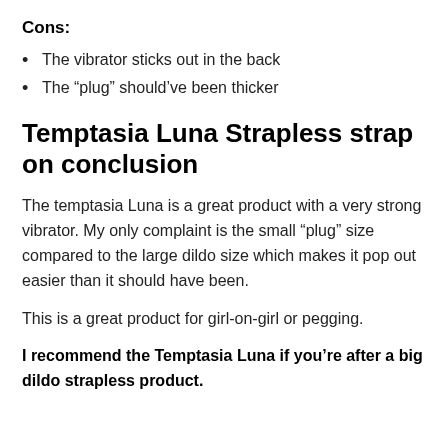Cons:
The vibrator sticks out in the back
The “plug” should’ve been thicker
Temptasia Luna Strapless strap on conclusion
The temptasia Luna is a great product with a very strong vibrator. My only complaint is the small “plug” size compared to the large dildo size which makes it pop out easier than it should have been.
This is a great product for girl-on-girl or pegging.
I recommend the Temptasia Luna if you’re after a big dildo strapless product.